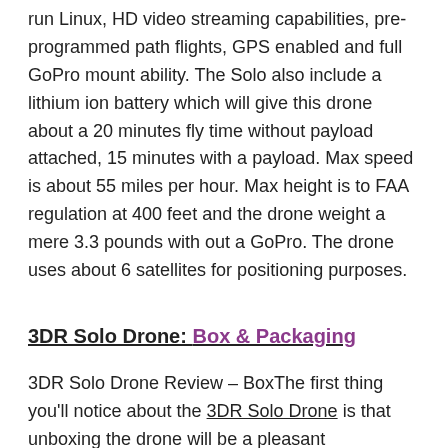run Linux, HD video streaming capabilities, pre-programmed path flights, GPS enabled and full GoPro mount ability. The Solo also include a lithium ion battery which will give this drone about a 20 minutes fly time without payload attached, 15 minutes with a payload. Max speed is about 55 miles per hour. Max height is to FAA regulation at 400 feet and the drone weight a mere 3.3 pounds with out a GoPro. The drone uses about 6 satellites for positioning purposes.
3DR Solo Drone: Box & Packaging
3DR Solo Drone Review – BoxThe first thing you'll notice about the 3DR Solo Drone is that unboxing the drone will be a pleasant experience. All of the drone's components are neatly and professionally packaged inside, showing that 3DR really went above and beyond to deliver the best product possible.
Another thing I like about the drone's box is that it can double as a carrying case if needed. Believe it or not, it's the small things